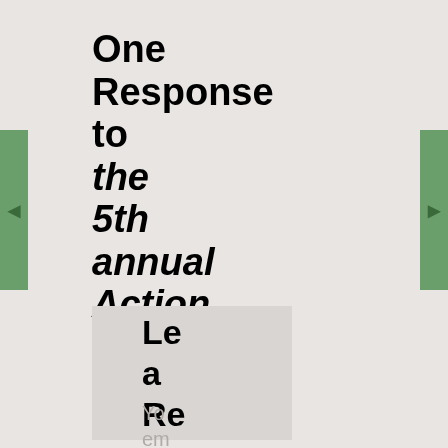One Response to the 5th annual Action Kivu fundraiser
Leave a Reply
Your email address will not be published.